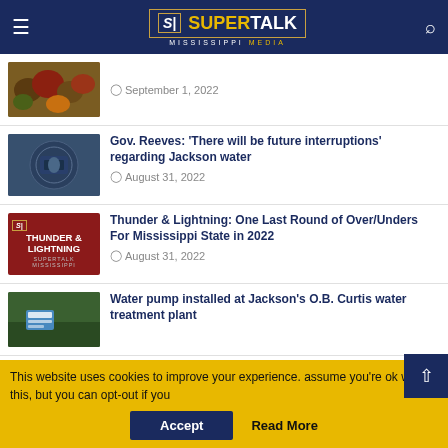SuperTalk Mississippi Media
September 1, 2022
Gov. Reeves: 'There will be future interruptions' regarding Jackson water — August 31, 2022
Thunder & Lightning: One Last Round of Over/Unders For Mississippi State in 2022 — August 31, 2022
Water pump installed at Jackson's O.B. Curtis water treatment plant
This website uses cookies to improve your experience. assume you're ok with this, but you can opt-out if you
Accept | Read More